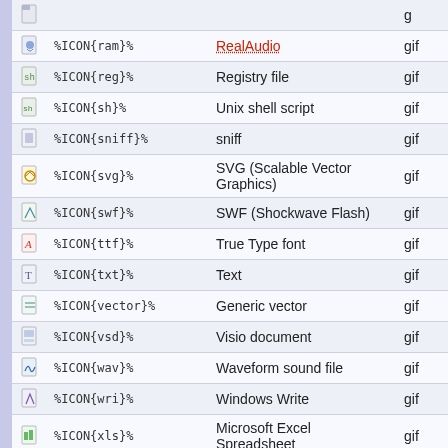| Icon | Code | Description | Ext |
| --- | --- | --- | --- |
| [icon] | %ICON{ram}% | RealAudio | gif |
| [icon] | %ICON{reg}% | Registry file | gif |
| [icon] | %ICON{sh}% | Unix shell script | gif |
| [icon] | %ICON{sniff}% | sniff | gif |
| [icon] | %ICON{svg}% | SVG (Scalable Vector Graphics) | gif |
| [icon] | %ICON{swf}% | SWF (Shockwave Flash) | gif |
| [icon] | %ICON{ttf}% | True Type font | gif |
| [icon] | %ICON{txt}% | Text | gif |
| [icon] | %ICON{vector}% | Generic vector | gif |
| [icon] | %ICON{vsd}% | Visio document | gif |
| [icon] | %ICON{wav}% | Waveform sound file | gif |
| [icon] | %ICON{wri}% | Windows Write | gif |
| [icon] | %ICON{xls}% | Microsoft Excel Spreadsheet | gif |
| [icon] | %ICON{xml}% | XML | gif |
| [icon] | %ICON{xsl}% | XSL (XML style sheet) | gif |
| [icon] | %ICON{zip}% | Compressed Zip archive | gif |